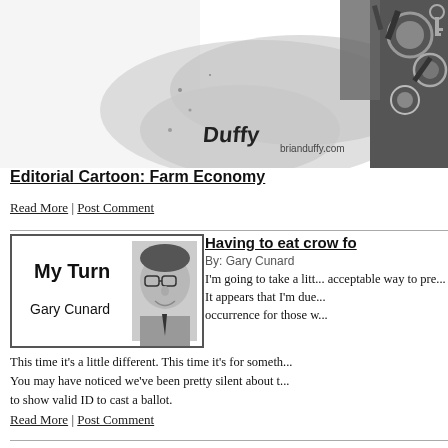[Figure (illustration): Editorial cartoon illustration with mechanical/gears imagery in ink and watercolor, with 'Duffy brianduffy.com' signature/logo]
Editorial Cartoon: Farm Economy
Read More | Post Comment
[Figure (photo): My Turn column headshot photo of Gary Cunard with text 'My Turn' and 'Gary Cunard']
Having to eat crow fo...
By: Gary Cunard
I'm going to take a litt... acceptable way to pre... It appears that I'm due... occurrence for those w... This time it's a little different. This time it's for someth... You may have noticed we've been pretty silent about t... to show valid ID to cast a ballot.
Read More | Post Comment